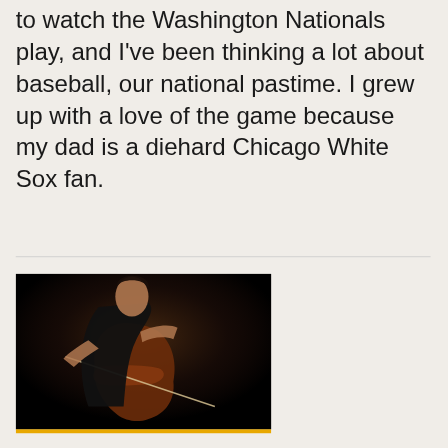to watch the Washington Nationals play, and I've been thinking a lot about baseball, our national pastime. I grew up with a love of the game because my dad is a diehard Chicago White Sox fan.
[Figure (photo): A musician playing a cello on a dark stage, wearing all black, leaning over the instrument while bowing]
Kol Nidre: All Vows and One
731 Shares | Facebook | Twitter | Pinterest | SMS | Share